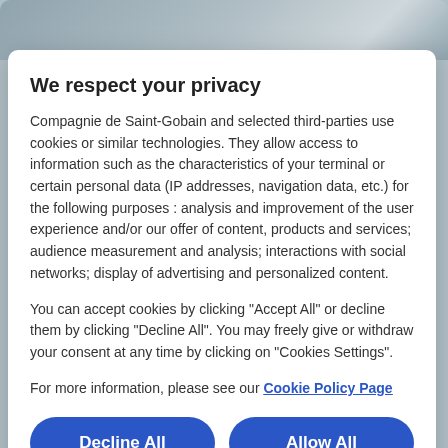[Figure (screenshot): Background image showing a blue-grey gradient sky/landscape visible behind the modal dialog]
We respect your privacy
Compagnie de Saint-Gobain and selected third-parties use cookies or similar technologies. They allow access to information such as the characteristics of your terminal or certain personal data (IP addresses, navigation data, etc.) for the following purposes : analysis and improvement of the user experience and/or our offer of content, products and services; audience measurement and analysis; interactions with social networks; display of advertising and personalized content.
You can accept cookies by clicking "Accept All" or decline them by clicking "Decline All". You may freely give or withdraw your consent at any time by clicking on "Cookies Settings".
For more information, please see our Cookie Policy Page
Decline All
Allow All